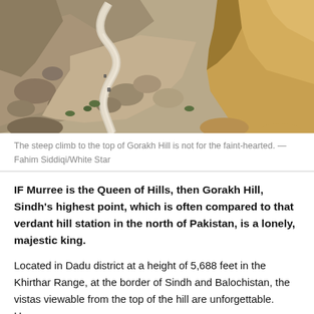[Figure (photo): A winding mountain road snaking through a steep rocky gorge. The road is light grey/white and curves dramatically through the canyon. On the right side are tall golden-brown rock cliffs. The landscape is dry and rocky with sparse green vegetation.]
The steep climb to the top of Gorakh Hill is not for the faint-hearted. — Fahim Siddiqi/White Star
IF Murree is the Queen of Hills, then Gorakh Hill, Sindh's highest point, which is often compared to that verdant hill station in the north of Pakistan, is a lonely, majestic king.
Located in Dadu district at a height of 5,688 feet in the Khirthar Range, at the border of Sindh and Balochistan, the vistas viewable from the top of the hill are unforgettable. However,